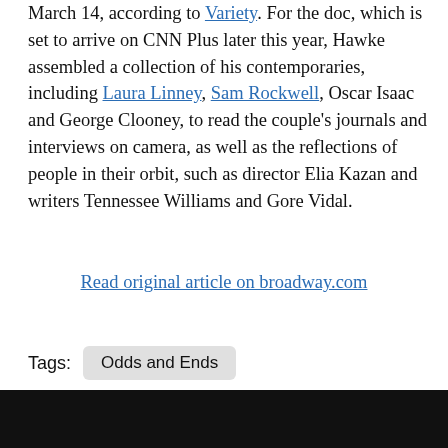March 14, according to Variety. For the doc, which is set to arrive on CNN Plus later this year, Hawke assembled a collection of his contemporaries, including Laura Linney, Sam Rockwell, Oscar Isaac and George Clooney, to read the couple's journals and interviews on camera, as well as the reflections of people in their orbit, such as director Elia Kazan and writers Tennessee Williams and Gore Vidal.
Read original article on broadway.com
Tags: Odds and Ends